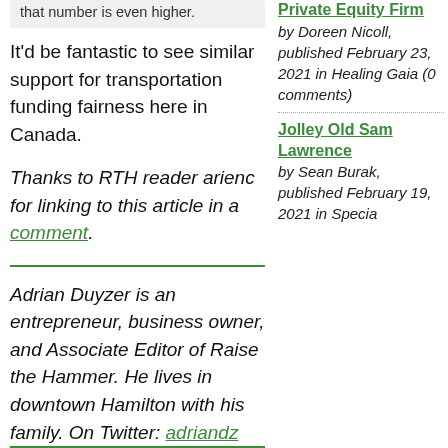that number is even higher.
It'd be fantastic to see similar support for transportation funding fairness here in Canada.
Thanks to RTH reader arienc for linking to this article in a comment.
Adrian Duyzer is an entrepreneur, business owner, and Associate Editor of Raise the Hammer. He lives in downtown Hamilton with his family. On Twitter: adriandz
Private Equity Firm by Doreen Nicoll, published February 23, 2021 in Healing Gaia (0 comments)
Jolley Old Sam Lawrence by Sean Burak, published February 19, 2021 in Special